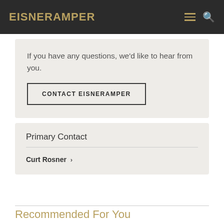EisnerAmper
If you have any questions, we'd like to hear from you.
CONTACT EISNERAMPER
Primary Contact
Curt Rosner
Recommended For You